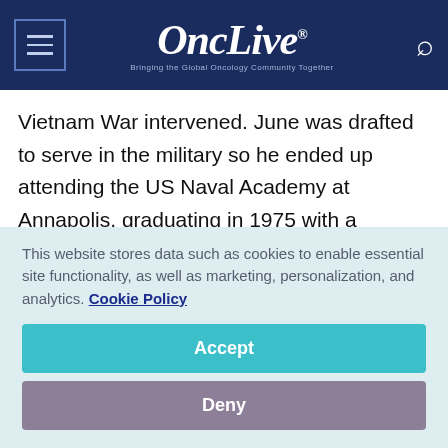OncLive® — Bringing the Global Oncology Community Together
Vietnam War intervened. June was drafted to serve in the military so he ended up attending the US Naval Academy at Annapolis, graduating in 1975 with a bachelor's degree in biology.
He subsequently obtained his medical degree at Baylor College of Medicine and went on to
This website stores data such as cookies to enable essential site functionality, as well as marketing, personalization, and analytics. Cookie Policy
Accept
Deny